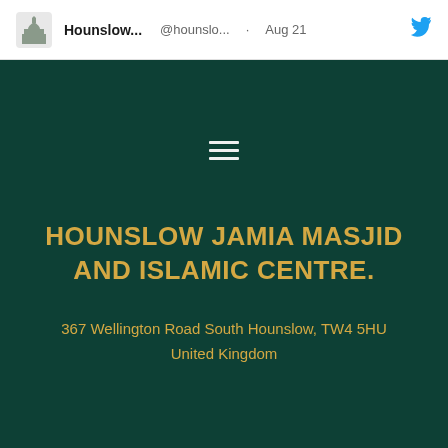[Figure (screenshot): Twitter/X post header snippet showing account name 'Hounslow...', handle '@hounslo...', date 'Aug 21', and Twitter bird icon, with a mosque logo avatar on the left.]
[Figure (other): Hamburger menu icon (three horizontal lines) centered on dark green background]
HOUNSLOW JAMIA MASJID AND ISLAMIC CENTRE.
367 Wellington Road South Hounslow, TW4 5HU United Kingdom